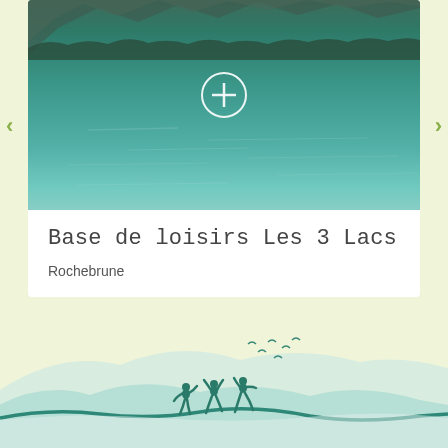[Figure (photo): Photo of a clear turquoise/teal lake with mountains and trees in the background, with a white circle plus icon overlay]
Base de loisirs Les 3 Lacs
Rochebrune
[Figure (illustration): Decorative footer illustration with light teal mountain silhouettes, a teal wave/path, and silhouettes of two children playing with birds flying above]